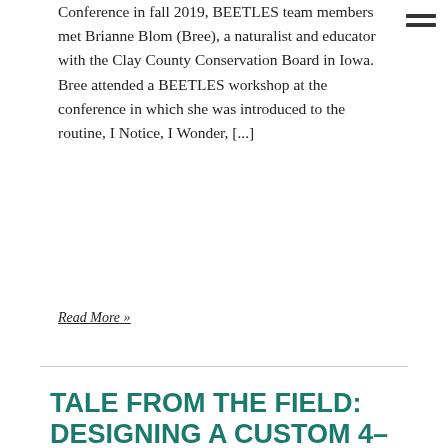Conference in fall 2019, BEETLES team members met Brianne Blom (Bree), a naturalist and educator with the Clay County Conservation Board in Iowa. Bree attended a BEETLES workshop at the conference in which she was introduced to the routine, I Notice, I Wonder, [...]
Read More »
TALE FROM THE FIELD: DESIGNING A CUSTOM 4-DAY CURRICULUM WITH BEETLES, PART 2
APRIL 27, 2020: TALES FROM THE FIELD
By Emilie Lygren, Kevin Beals, and Jedda Foreman In the spring of 2019, Waskowitz Outdoor Education Center hired BEETLES t...